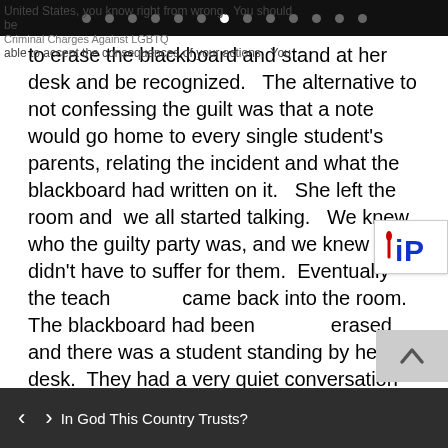navigation dots
to erase the blackboard and stand at her desk and be recognized.   The alternative to not confessing the guilt was that a note would go home to every single student's parents, relating the incident and what the blackboard had written on it.   She left the room and  we all started talking.   We knew who the guilty party was, and we knew we didn't have to suffer for them.  Eventually the teacher came back into the room.   The blackboard had been erased and there was a student standing by her desk.  They had a very quiet conversation and then the student sat down.   We exerted very little pressure on the guilty person, other than to say that they should own up to what they did…and they did.

Parting shot: If you're a rational person, living in these
United States, you know right from wrong.  You should be able to accept the consequences of your actions.  You